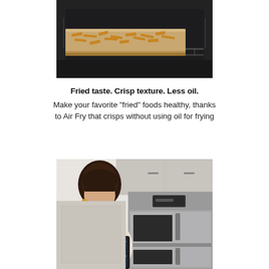[Figure (photo): Oven with a tray of french fries being pulled out on a rack, dark oven interior visible]
Fried taste. Crisp texture. Less oil.
Make your favorite "fried" foods healthy, thanks to Air Fry that crisps without using oil for frying
[Figure (photo): Woman holding a smartphone looking at a stainless steel built-in double wall oven in a kitchen with white cabinets]